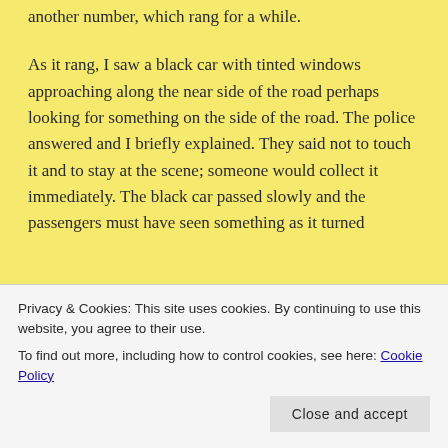said it was not an emergency and was transferred to another number, which rang for a while.
As it rang, I saw a black car with tinted windows approaching along the near side of the road perhaps looking for something on the side of the road. The police answered and I briefly explained. They said not to touch it and to stay at the scene; someone would collect it immediately. The black car passed slowly and the passengers must have seen something as it turned
Privacy & Cookies: This site uses cookies. By continuing to use this website, you agree to their use. To find out more, including how to control cookies, see here: Cookie Policy